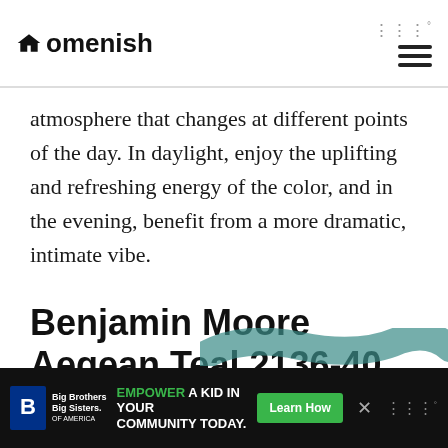Homenish
atmosphere that changes at different points of the day. In daylight, enjoy the uplifting and refreshing energy of the color, and in the evening, benefit from a more dramatic, intimate vibe.
Benjamin Moore Aegean Teal 2136-40
[Figure (illustration): Teal paint brush stroke at the bottom of the content area]
[Figure (other): Advertisement banner: Big Brothers Big Sisters logo, text EMPOWER A KID IN YOUR COMMUNITY TODAY., Learn How button, close button]